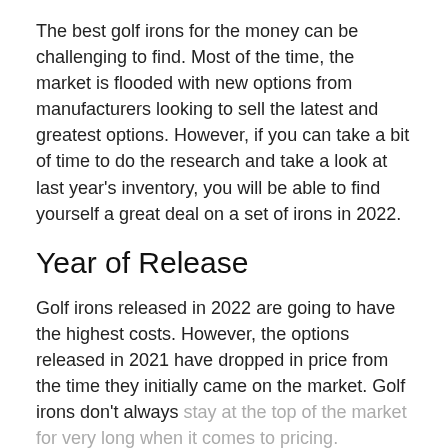The best golf irons for the money can be challenging to find. Most of the time, the market is flooded with new options from manufacturers looking to sell the latest and greatest options. However, if you can take a bit of time to do the research and take a look at last year’s inventory, you will be able to find yourself a great deal on a set of irons in 2022.
Year of Release
Golf irons released in 2022 are going to have the highest costs. However, the options released in 2021 have dropped in price from the time they initially came on the market. Golf irons don’t always stay at the top of the market for very long when it comes to pricing.